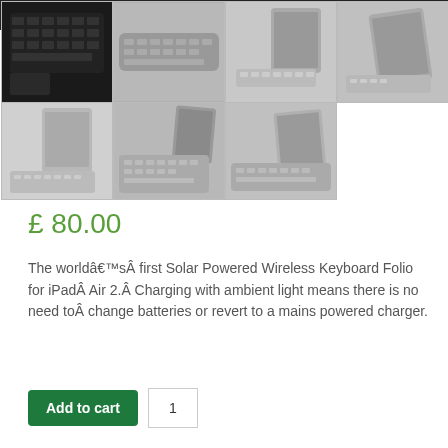[Figure (photo): Product gallery showing 7 thumbnail images of a solar-powered wireless keyboard folio for iPad Air 2. Top row: 4 thumbnails (black keyboard close-up, slim keyboard top view, iPad with keyboard side view, iPad with keyboard angled view). Bottom row: 3 thumbnails (iPad with keyboard open, keyboard top-down angled, tablet with keyboard side-flat view). A dark keyboard strip appears at the very top.]
£ 80.00
The world's first Solar Powered Wireless Keyboard Folio for iPad Air 2. Charging with ambient light means there is no need to change batteries or revert to a mains powered charger.
Add to cart